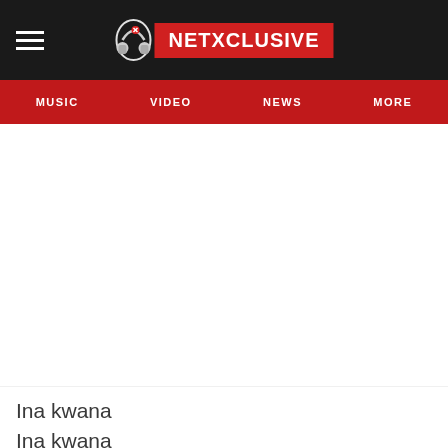[Figure (logo): Netxclusive website header with hamburger menu icon on left, and Netxclusive logo (headphones icon + red rectangle with white bold text NETXCLUSIVE) centered on black background]
MUSIC   VIDEO   NEWS   MORE
[Figure (screenshot): Large white blank content area, likely a video or image embed area]
Ina kwana
Ina kwana